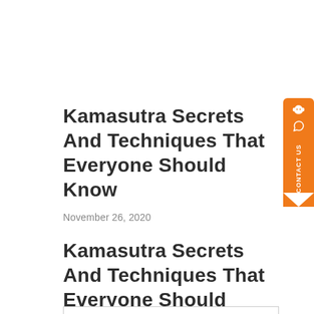Kamasutra Secrets And Techniques That Everyone Should Know
November 26, 2020
Kamasutra Secrets And Techniques That Everyone Should Know